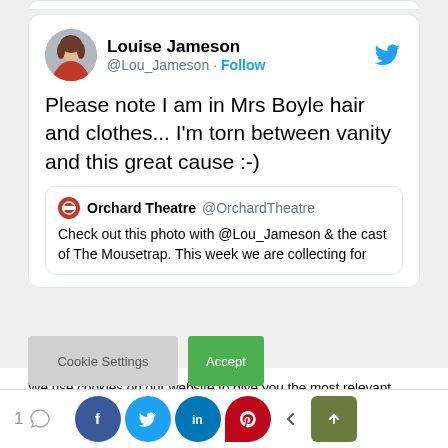[Figure (screenshot): Tweet from Louise Jameson (@Lou_Jameson) with Follow button and Twitter bird icon. Tweet text: 'Please note I am in Mrs Boyle hair and clothes... I'm torn between vanity and this great cause :-)'. Contains a quoted tweet from Orchard Theatre (@OrchardTheatre): 'Check out this photo with @Lou_Jameson & the cast of The Mousetrap. This week we are collecting for']
We use cookies on our website to give you the most relevant experience by remembering your preferences and repeat visits. By clicking “Accept”, you consent to the use of ALL the cookies.
Do not sell my personal information.
[Figure (screenshot): Bottom share bar with comment count (1), Facebook, Twitter, LinkedIn, Pinterest share buttons, a back arrow, and a scroll-to-top button]